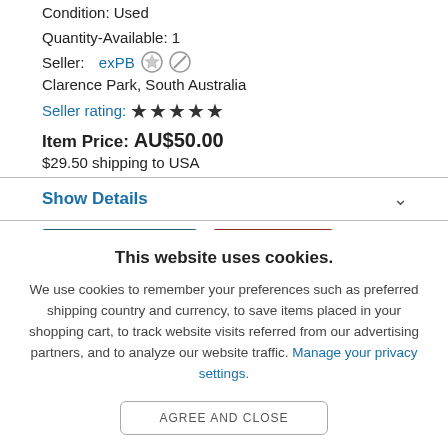Condition: Used
Quantity-Available: 1
Seller: exPB [icons] Clarence Park, South Australia Seller rating: ★★★★★
Item Price: AU$50.00
$29.50 shipping to USA
Show Details
This website uses cookies.
We use cookies to remember your preferences such as preferred shipping country and currency, to save items placed in your shopping cart, to track website visits referred from our advertising partners, and to analyze our website traffic. Manage your privacy settings.
AGREE AND CLOSE